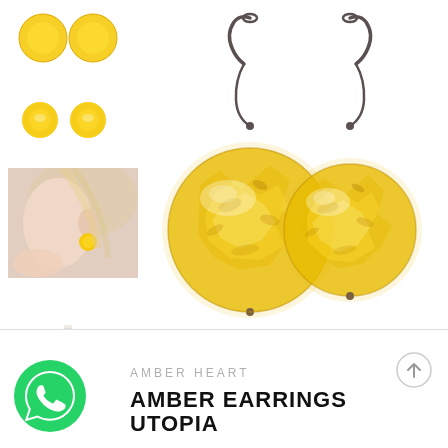[Figure (photo): Thumbnail of yellow amber stud earrings pair shown from above]
[Figure (photo): Thumbnail of small round yellow amber ball stud earrings pair]
[Figure (photo): Thumbnail photo of woman wearing amber earring, side profile showing ear and neck]
[Figure (photo): Thumbnail of earrings displayed on white jewelry stand]
[Figure (photo): Main large product photo of two round amber drop earrings with silver hooks, showing golden-yellow translucent amber beads with internal flecks]
[Figure (logo): WhatsApp green circle logo button]
AMBER HEART
AMBER EARRINGS UTOPIA